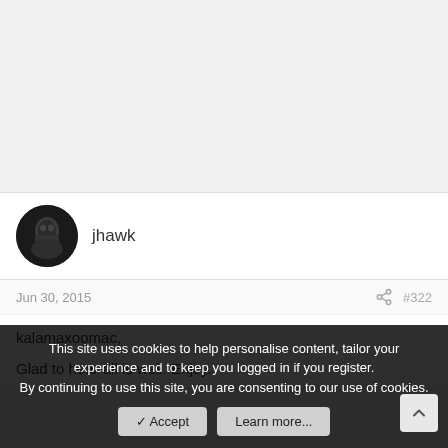[Figure (photo): User avatar photo of jhawk - dark portrait photo in circular frame]
jhawk
Jun 30, 2015
#322
kalamaxoomac,
Glad to hear all is well. Enjoy.
This site uses cookies to help personalise content, tailor your experience and to keep you logged in if you register.
By continuing to use this site, you are consenting to our use of cookies.
✓ Accept
Learn more...